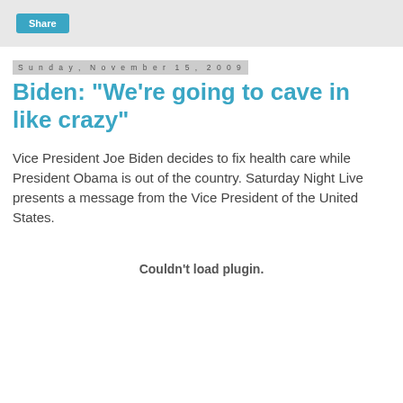Share
Sunday, November 15, 2009
Biden: "We're going to cave in like crazy"
Vice President Joe Biden decides to fix health care while President Obama is out of the country. Saturday Night Live presents a message from the Vice President of the United States.
Couldn't load plugin.